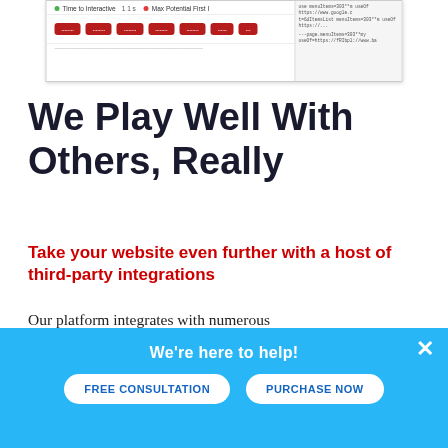[Figure (screenshot): Screenshot of a web performance tool showing 'Time to Interactive' and 'Max Potential First...' metrics with green dots, red button elements, and code panel on the right side]
We Play Well With Others, Really
Take your website even further with a host of third-party integrations
Our platform integrates with numerous
We're here to help!
FREE CONSULTATION
PURCHASE NOW